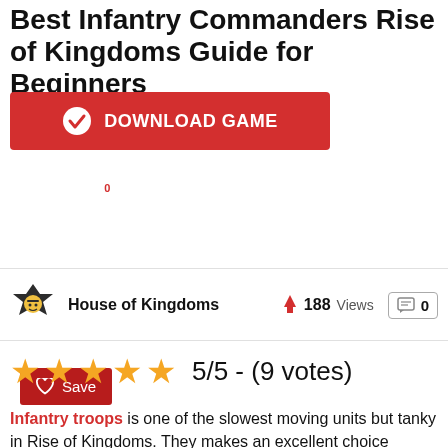Best Infantry Commanders Rise of Kingdoms Guide for Beginners
[Figure (other): Red download game button with white checkmark icon and text DOWNLOAD GAME]
[Figure (other): Dark red Save button with heart icon and badge showing 0]
House of Kingdoms   188 Views   0
5/5 - (9 votes)
Infantry troops is one of the slowest moving units but tanky in Rise of Kingdoms. They makes an excellent choice